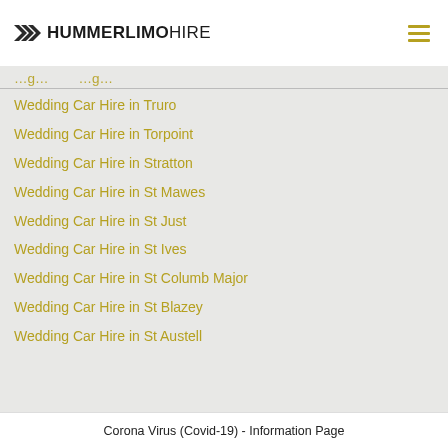HUMMERLIMOHIRE
Wedding Car Hire in Truro
Wedding Car Hire in Torpoint
Wedding Car Hire in Stratton
Wedding Car Hire in St Mawes
Wedding Car Hire in St Just
Wedding Car Hire in St Ives
Wedding Car Hire in St Columb Major
Wedding Car Hire in St Blazey
Wedding Car Hire in St Austell
Corona Virus (Covid-19) - Information Page